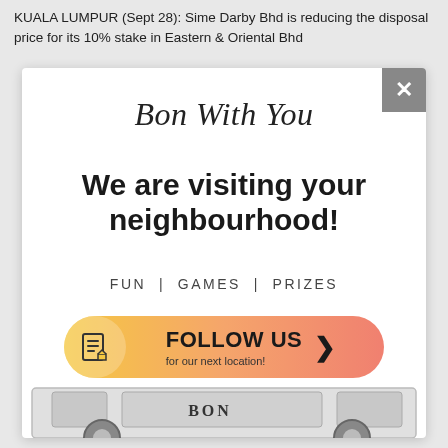KUALA LUMPUR (Sept 28): Sime Darby Bhd is reducing the disposal price for its 10% stake in Eastern & Oriental Bhd
Bon With You
We are visiting your neighbourhood!
FUN | GAMES | PRIZES
[Figure (infographic): Orange gradient button with document icon and text 'FOLLOW US > for our next location!']
[Figure (photo): Bottom portion of a white van with BON branding visible]